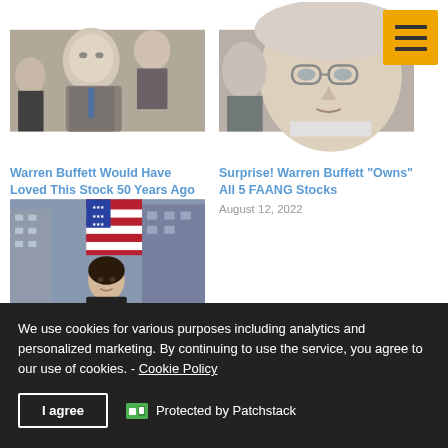[Figure (photo): Warren Buffett at an event, smiling, in a crowd]
[Figure (photo): Warren Buffett close-up portrait, glasses]
Warren Buffett Would Have Loved This Stock 50 Years Ago
August 19, 2022
Surprise! Warren Buffett “Owns” All 5 FAANG Stocks
August 12, 2022
[Figure (photo): Woman in black suit standing in front of American flag on Wall Street]
Warren Buffett’s Advice for a Bear Market? Ride the American Tailwind
We use cookies for various purposes including analytics and personalized marketing. By continuing to use the service, you agree to our use of cookies. - Cookie Policy
I agree
Protected by Patchstack